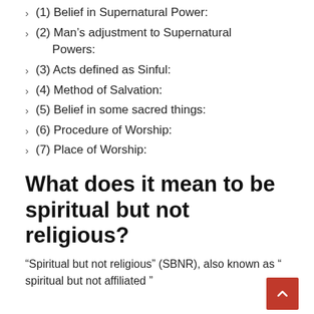(1) Belief in Supernatural Power:
(2) Man’s adjustment to Supernatural Powers:
(3) Acts defined as Sinful:
(4) Method of Salvation:
(5) Belief in some sacred things:
(6) Procedure of Worship:
(7) Place of Worship:
What does it mean to be spiritual but not religious?
“Spiritual but not religious” (SBNR), also known as “ spiritual but not affiliated ”